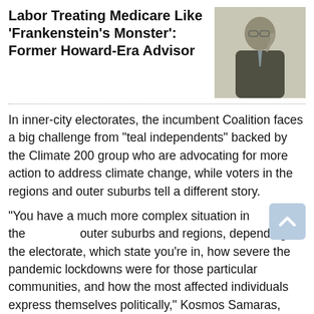Labor Treating Medicare Like ‘Frankenstein’s Monster’: Former Howard-Era Advisor
[Figure (photo): Photo of a man in a suit and glasses, pointing upward with one finger, outdoors with blurred foliage background.]
In inner-city electorates, the incumbent Coalition faces a big challenge from “teal independents” backed by the Climate 200 group who are advocating for more action to address climate change, while voters in the regions and outer suburbs tell a different story.
“You have a much more complex situation in the outer suburbs and regions, depending on the electorate, which state you’re in, how severe the pandemic lockdowns were for those particular communities, and how the most affected individuals express themselves politically,” Kosmos Samaras, director of the RedBridge Group, previously told The